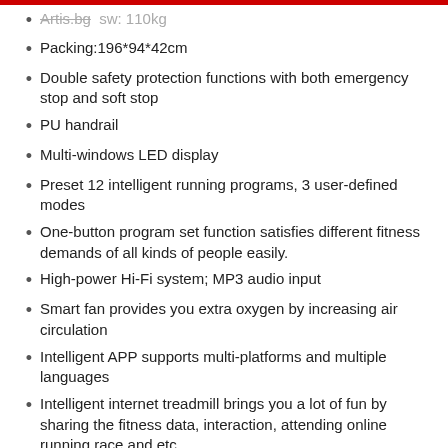Packing:196*94*42cm
Double safety protection functions with both emergency stop and soft stop
PU handrail
Multi-windows LED display
Preset 12 intelligent running programs, 3 user-defined modes
One-button program set function satisfies different fitness demands of all kinds of people easily.
High-power Hi-Fi system; MP3 audio input
Smart fan provides you extra oxygen by increasing air circulation
Intelligent APP supports multi-platforms and multiple languages
Intelligent internet treadmill brings you a lot of fun by sharing the fitness data, interaction, attending online running race and etc
Professional and simple user operation interface; Quick